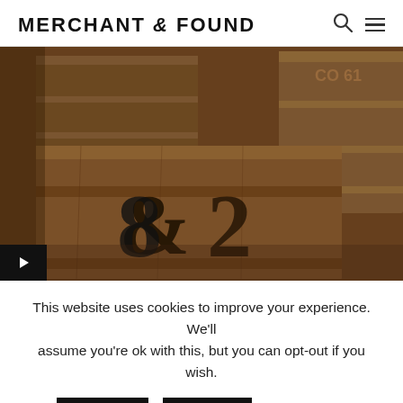MERCHANT & FOUND
[Figure (photo): Close-up photo of old wooden crates/boxes with the number 82 painted/stenciled on the front, arranged in a warehouse or storage setting. The wood is weathered and dark.]
This website uses cookies to improve your experience. We'll assume you're ok with this, but you can opt-out if you wish.
Accept  Reject  Read More